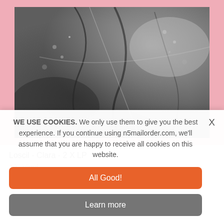[Figure (photo): Black and white abstract photo of water or ice with streaks and droplets, on a pink background — album cover for Loscil - Clara - 2 X LP]
Loscil - Clara - 2 X LP
12" Vinyl
$24.00
ARTISTS
WE USE COOKIES. We only use them to give you the best experience. If you continue using n5mailorder.com, we'll assume that you are happy to receive all cookies on this website.
All Good!
Learn more